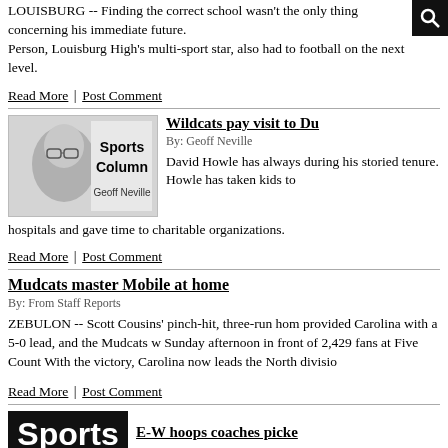LOUISBURG -- Finding the correct school wasn't the only thing concerning his immediate future. Person, Louisburg High's multi-sport star, also had to football on the next level.
Read More | Post Comment
[Figure (photo): Sports Column headshot photo of Geoff Neville]
Wildcats pay visit to Du
By: Geoff Neville
David Howle has always during his storied tenure. Howle has taken kids to hospitals and gave time to charitable organizations.
Read More | Post Comment
Mudcats master Mobile at home
By: From Staff Reports
ZEBULON -- Scott Cousins' pinch-hit, three-run hom provided Carolina with a 5-0 lead, and the Mudcats w Sunday afternoon in front of 2,429 fans at Five Count With the victory, Carolina now leads the North divisio
Read More | Post Comment
[Figure (logo): Sports logo image in black bold text]
E-W hoops coaches picke